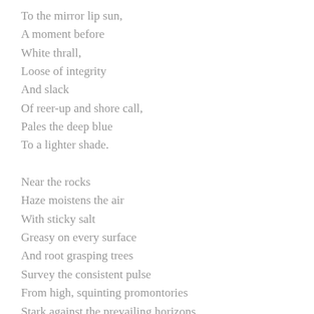To the mirror lip sun,
A moment before
White thrall,
Loose of integrity
And slack
Of reer-up and shore call,
Pales the deep blue
To a lighter shade.

Near the rocks
Haze moistens the air
With sticky salt
Greasy on every surface
And root grasping trees
Survey the consistent pulse
From high, squinting promontories
Stark against the prevailing horizons